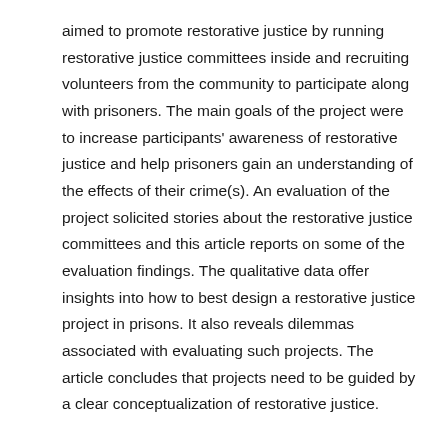aimed to promote restorative justice by running restorative justice committees inside and recruiting volunteers from the community to participate along with prisoners. The main goals of the project were to increase participants' awareness of restorative justice and help prisoners gain an understanding of the effects of their crime(s). An evaluation of the project solicited stories about the restorative justice committees and this article reports on some of the evaluation findings. The qualitative data offer insights into how to best design a restorative justice project in prisons. It also reveals dilemmas associated with evaluating such projects. The article concludes that projects need to be guided by a clear conceptualization of restorative justice.